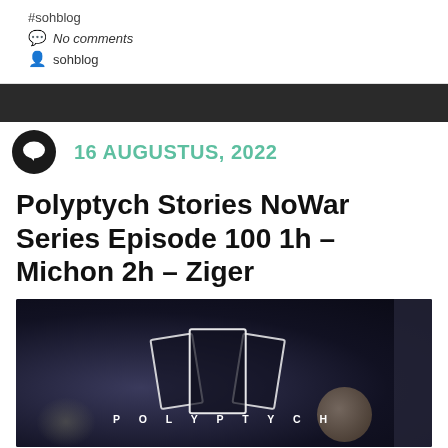#sohblog
No comments
sohblog
16 AUGUSTUS, 2022
Polyptych Stories NoWar Series Episode 100 1h – Michon 2h – Ziger
[Figure (photo): Dark background image with POLYPTYCH logo in white letters with card frames around the T, a spherical orb visible on the right side, and a blurred face/figure at the bottom left.]